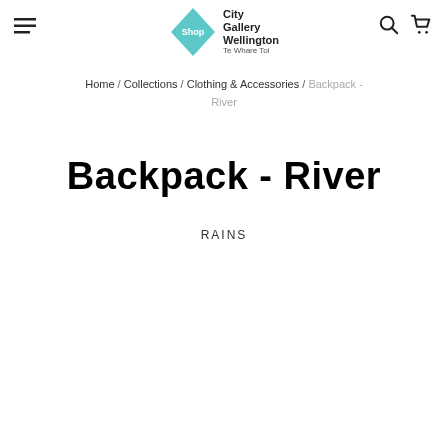City Gallery Wellington Shop — navigation header
Home / Collections / Clothing & Accessories / Backpack - River
Backpack - River
RAINS